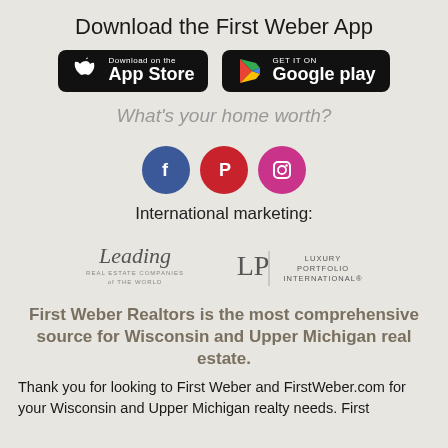Download the First Weber App
[Figure (logo): App Store download button (black rounded rectangle with Apple logo and text 'Download on the App Store')]
[Figure (logo): Google Play download button (black rounded rectangle with Google Play logo and text 'GET IT ON Google play')]
What's your home worth?
[Figure (logo): Facebook, Pinterest, and Instagram social media icons as colored circles]
International marketing:
[Figure (logo): Leading Real Estate Companies of the World logo]
[Figure (logo): Luxury Portfolio International logo]
First Weber Realtors is the most comprehensive source for Wisconsin and Upper Michigan real estate.
Thank you for looking to First Weber and FirstWeber.com for your Wisconsin and Upper Michigan realty needs. First